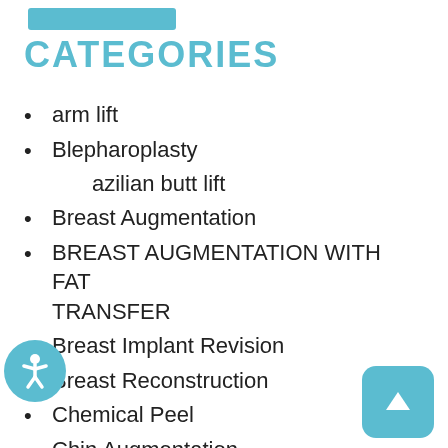CATEGORIES
arm lift
Blepharoplasty
Brazilian butt lift
Breast Augmentation
BREAST AUGMENTATION WITH FAT TRANSFER
Breast Implant Revision
Breast Reconstruction
Chemical Peel
Chin Augmentation
CoolSculpting
Cosmetic Surgery